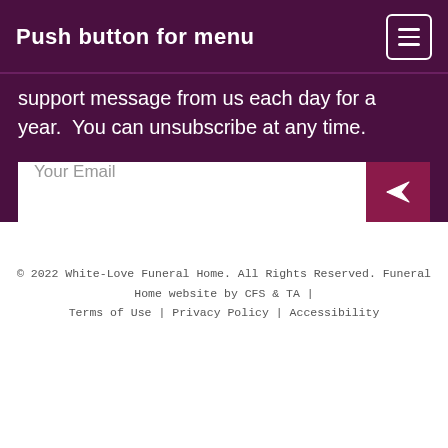Push button for menu
support message from us each day for a year. You can unsubscribe at any time.
Your Email
© 2022 White-Love Funeral Home. All Rights Reserved. Funeral Home website by CFS & TA | Terms of Use | Privacy Policy | Accessibility